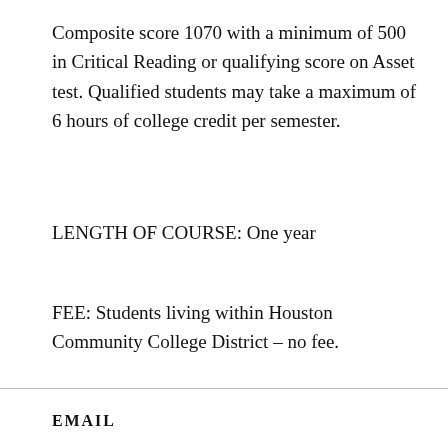Composite score 1070 with a minimum of 500 in Critical Reading or qualifying score on Asset test. Qualified students may take a maximum of 6 hours of college credit per semester.
LENGTH OF COURSE: One year
FEE: Students living within Houston Community College District – no fee.
EMAIL